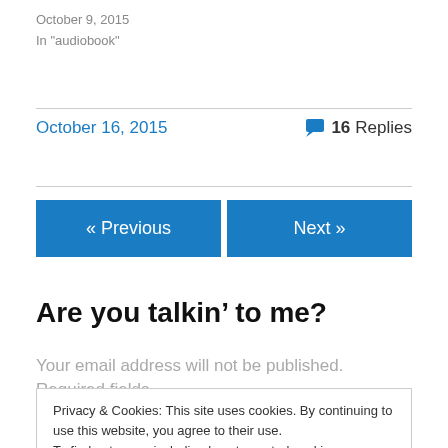October 9, 2015
In "audiobook"
October 16, 2015
💬 16 Replies
« Previous
Next »
Are you talkin' to me?
Your email address will not be published. Required fields
Privacy & Cookies: This site uses cookies. By continuing to use this website, you agree to their use.
To find out more, including how to control cookies, see here: Cookie Policy
Close and accept